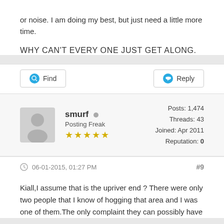or noise. I am doing my best, but just need a little more time.
WHY CAN'T EVERY ONE JUST GET ALONG.
Find
Reply
smurf
Posting Freak
Posts: 1,474
Threads: 43
Joined: Apr 2011
Reputation: 0
06-01-2015, 01:27 PM  #9
Kiall,I assume that is the upriver end ? There were only two people that I know of hogging that area and I was one of them.The only complaint they can possibly have